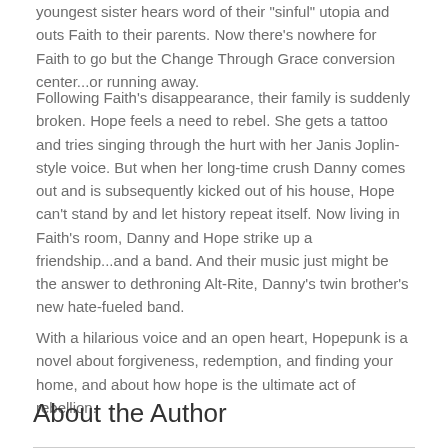youngest sister hears word of their "sinful" utopia and outs Faith to their parents. Now there's nowhere for Faith to go but the Change Through Grace conversion center...or running away.
Following Faith's disappearance, their family is suddenly broken. Hope feels a need to rebel. She gets a tattoo and tries singing through the hurt with her Janis Joplin-style voice. But when her long-time crush Danny comes out and is subsequently kicked out of his house, Hope can't stand by and let history repeat itself. Now living in Faith's room, Danny and Hope strike up a friendship...and a band. And their music just might be the answer to dethroning Alt-Rite, Danny's twin brother's new hate-fueled band.
With a hilarious voice and an open heart, Hopepunk is a novel about forgiveness, redemption, and finding your home, and about how hope is the ultimate act of rebellion.
About the Author